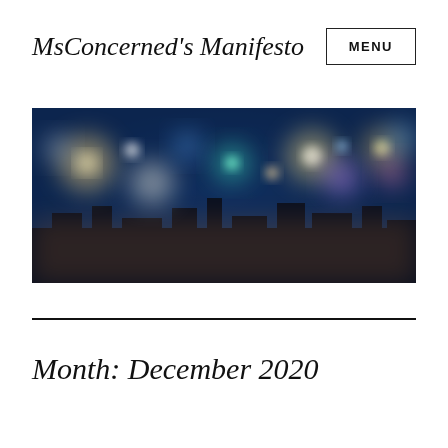MsConcerned's Manifesto
[Figure (photo): Blurred bokeh cityscape at night with colorful lights in blue, teal, and warm tones]
Month: December 2020